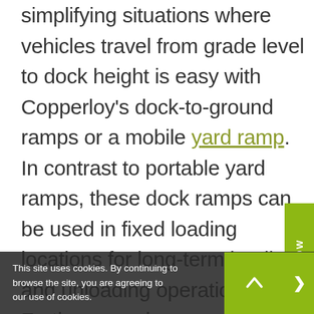simplifying situations where vehicles travel from grade level to dock height is easy with Copperloy's dock-to-ground ramps or a mobile yard ramp. In contrast to portable yard ramps, these dock ramps can be used in fixed loading locations for long-term loading and unloading operations. Furthermore, because the ramp goes only from dock height to ground, the hydraulic pump and pneumatic tires are no longer necessary. Customers can also request custom ramps to meet their facilities unique loading dock specifications:
This site uses cookies. By continuing to browse the site, you are agreeing to our use of cookies.